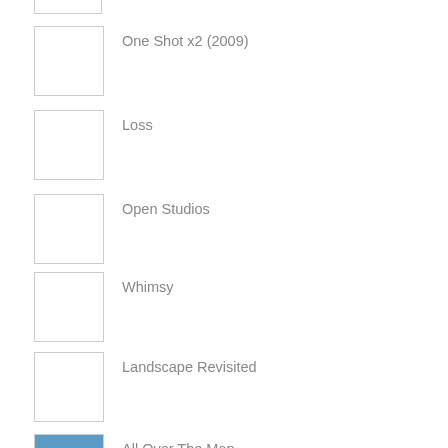[Figure (photo): Thumbnail image placeholder (partial, top of page)]
One Shot x2 (2009)
Loss
Open Studios
Whimsy
Landscape Revisited
All Over The Map